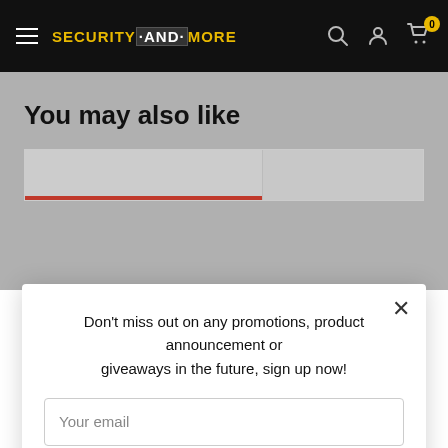SECURITY AND MORE — navigation bar with hamburger menu, logo, search, account, and cart icons
You may also like
Don't miss out on any promotions, product announcement or giveaways in the future, sign up now!
Your email
Subscribe